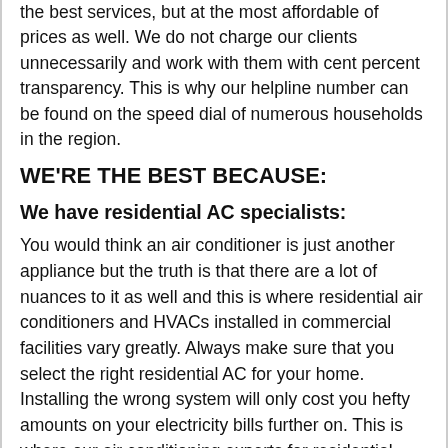the best services, but at the most affordable of prices as well. We do not charge our clients unnecessarily and work with them with cent percent transparency. This is why our helpline number can be found on the speed dial of numerous households in the region.
WE'RE THE BEST BECAUSE:
We have residential AC specialists:
You would think an air conditioner is just another appliance but the truth is that there are a lot of nuances to it as well and this is where residential air conditioners and HVACs installed in commercial facilities vary greatly. Always make sure that you select the right residential AC for your home. Installing the wrong system will only cost you hefty amounts on your electricity bills further on. This is where our air conditioning experts for residential needs can come in to your aid and help you in